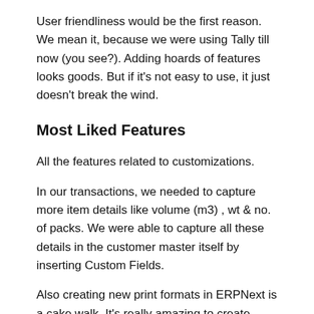User friendliness would be the first reason. We mean it, because we were using Tally till now (you see?). Adding hoards of features looks goods. But if it's not easy to use, it just doesn't break the wind.
Most Liked Features
All the features related to customizations.
In our transactions, we needed to capture more item details like volume (m3) , wt & no. of packs. We were able to capture all these details in the customer master itself by inserting Custom Fields.
Also creating new print formats in ERPNext is a cake walk. It's really amazing to create something yourself which…